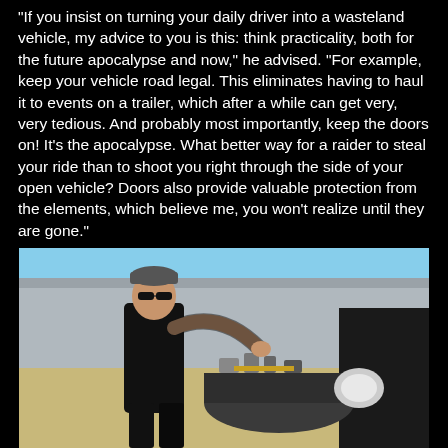"If you insist on turning your daily driver into a wasteland vehicle, my advice to you is this: think practicality, both for the future apocalypse and now," he advised. "For example, keep your vehicle road legal. This eliminates having to haul it to events on a trailer, which after a while can get very, very tedious. And probably most importantly, keep the doors on! It's the apocalypse. What better way for a raider to steal your ride than to shoot you right through the side of your open vehicle? Doors also provide valuable protection from the elements, which believe me, you won't realize until they are gone."
[Figure (photo): A man wearing sunglasses and a backwards cap, dressed in black, poses next to a large jet engine outdoors near a building on a sunny day.]